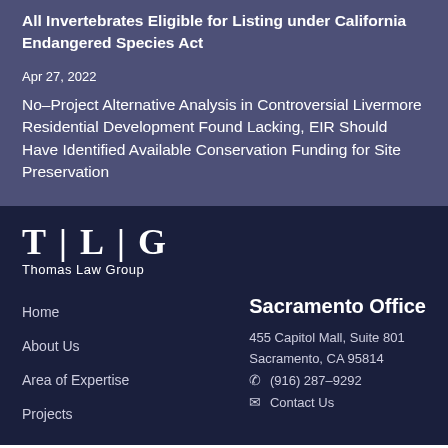All Invertebrates Eligible for Listing under California Endangered Species Act
Apr 27, 2022
No-Project Alternative Analysis in Controversial Livermore Residential Development Found Lacking, EIR Should Have Identified Available Conservation Funding for Site Preservation
[Figure (logo): Thomas Law Group logo with TLG letters and full name below]
Home
About Us
Area of Expertise
Projects
Sacramento Office
455 Capitol Mall, Suite 801
Sacramento, CA 95814
(916) 287-9292
Contact Us